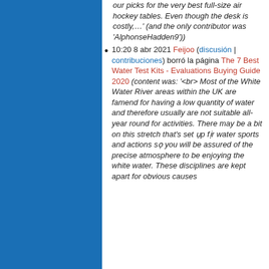our picks for the very best full-size air hockey tables. Even though the desk is costly,...' (and the only contributor was 'AlphonseHadden9'))
10:20 8 abr 2021 Feijoo (discusión | contribuciones) borró la página The 7 Best Water Test Kits - Evaluations Buying Guide 2020 (content was: '<br> Most of the White Water River areas within the UK are famend for having a low quantity of water and therefore usually are not suitable all-year round for activities. There may be a bit on this stretch that's set ụp fịr water sports and actions sọ you will be assured of the precise atmosphere to be enjoying the white water. These disciplines are kept apart for obvious causes...